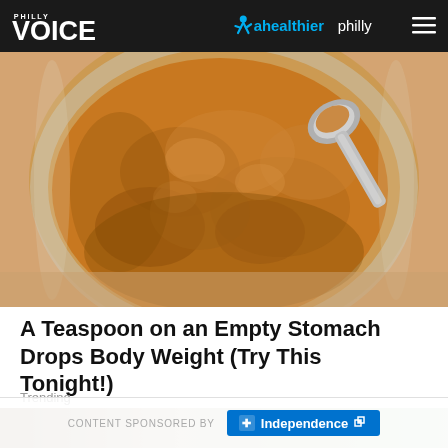PHILLY VOICE | ahealthierphilly
[Figure (photo): Overhead view of a glass jar filled with brown cinnamon powder with a metal spoon scooping into it, placed on a wooden surface.]
A Teaspoon on an Empty Stomach Drops Body Weight (Try This Tonight!)
Trending
[Figure (photo): Partially visible second article image at the bottom of the page.]
CONTENT SPONSORED BY Independence